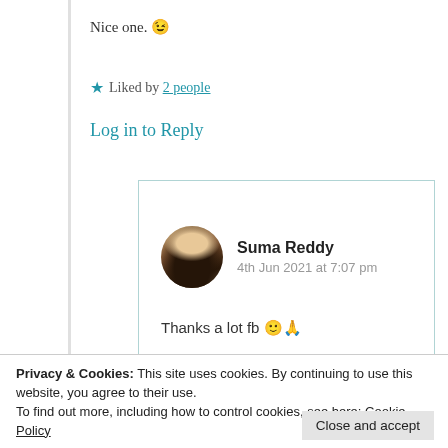Nice one. 😉
★ Liked by 2 people
Log in to Reply
Suma Reddy
4th Jun 2021 at 7:07 pm
Thanks a lot fb 🙂🙏
Privacy & Cookies: This site uses cookies. By continuing to use this website, you agree to their use.
To find out more, including how to control cookies, see here: Cookie Policy
Close and accept